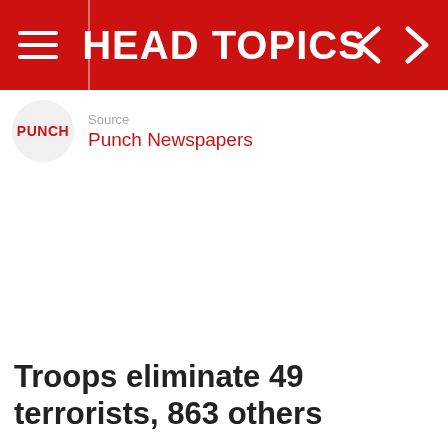HEAD TOPICS
Source
Punch Newspapers
Troops eliminate 49 terrorists, 863 others